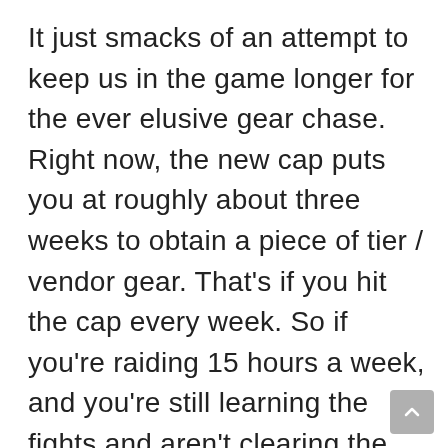It just smacks of an attempt to keep us in the game longer for the ever elusive gear chase. Right now, the new cap puts you at roughly about three weeks to obtain a piece of tier / vendor gear. That's if you hit the cap every week. So if you're raiding 15 hours a week, and you're still learning the fights and aren't clearing the whole new tier, you're still forced to do several hours of either other tier raiding AND heroics, or just heroics. This is a significant time investment, and considering it's content that a lot of us have already done to death, it has the potential to